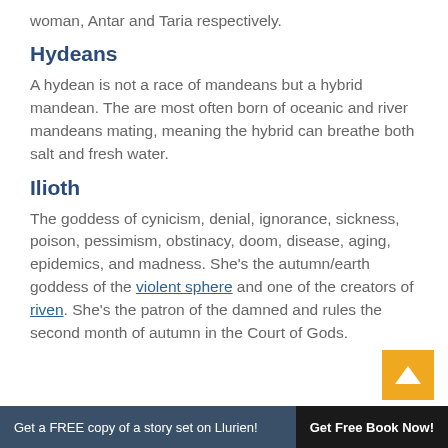woman, Antar and Taria respectively.
Hydeans
A hydean is not a race of mandeans but a hybrid mandean. The are most often born of oceanic and river mandeans mating, meaning the hybrid can breathe both salt and fresh water.
Ilioth
The goddess of cynicism, denial, ignorance, sickness, poison, pessimism, obstinacy, doom, disease, aging, epidemics, and madness. She’s the autumn/earth goddess of the violent sphere and one of the creators of riven. She’s the patron of the damned and rules the second month of autumn in the Court of Gods.
Get a FREE copy of a story set on Llurien! Get Free Book Now!